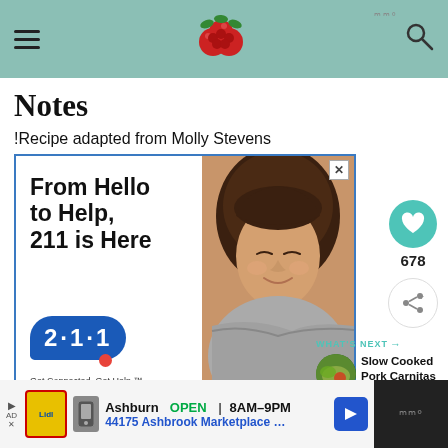Notes — recipe website header with hamburger menu, raspberry logo, and search icon
Notes
!Recipe adapted from Molly Stevens
[Figure (screenshot): Advertisement: 'From Hello to Help, 211 is Here' with 211 bubble logo and photo of a child with eyes closed resting head on arms. Close button X in top right.]
[Figure (infographic): Heart/like button with count 678, and share button on right sidebar]
WHAT'S NEXT →
Slow Cooked Pork Carnitas
Ashburn OPEN 8AM–9PM | 44175 Ashbrook Marketplace …